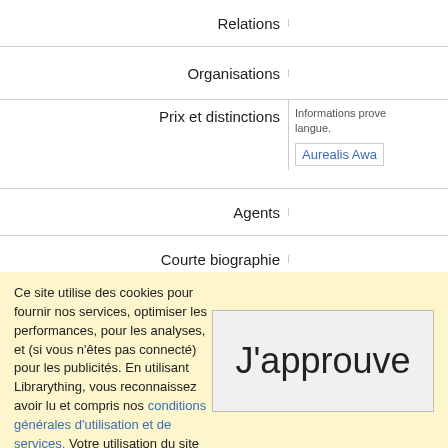| Label | Content |
| --- | --- |
| Relations |  |
| Organisations |  |
| Prix et distinctions | Informations prove... langue.
Aurealis Awa... |
| Agents |  |
| Courte biographie |  |
| Notice de désambigüisation |  |
Ce site utilise des cookies pour fournir nos services, optimiser les performances, pour les analyses, et (si vous n'êtes pas connecté) pour les publicités. En utilisant Librarything, vous reconnaissez avoir lu et compris nos conditions générales d'utilisation et de services. Votre utilisation du site et de ses services vaut acceptation de ces conditions et termes.
J'approuve